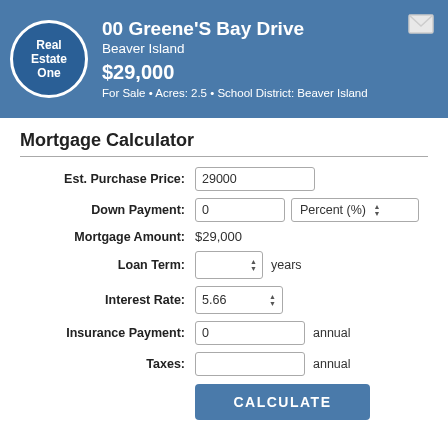00 Greene'S Bay Drive, Beaver Island, $29,000, For Sale • Acres: 2.5 • School District: Beaver Island
Mortgage Calculator
| Field | Value |
| --- | --- |
| Est. Purchase Price: | 29000 |
| Down Payment: | 0 | Percent (%) |
| Mortgage Amount: | $29,000 |
| Loan Term: | years |
| Interest Rate: | 5.66 |
| Insurance Payment: | 0 annual |
| Taxes: | annual |
CALCULATE